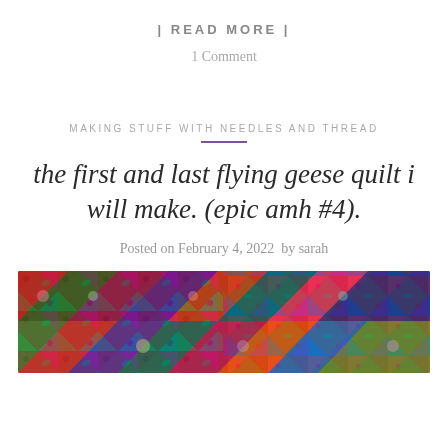| READ MORE |
1 Comment
MAKING STUFF WITH NEEDLES AND THREAD
the first and last flying geese quilt i will make. (epic amh #4).
Posted on February 4, 2022  by sarah
[Figure (photo): Close-up photo of a colorful flying geese quilt with vibrant floral and botanical fabric patterns in red, green, blue and multicolor triangular pieces]